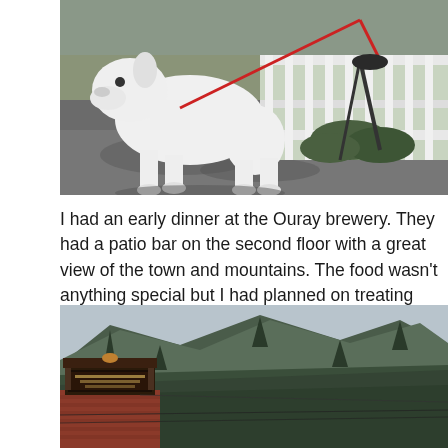[Figure (photo): White dog on a leash standing on a paved surface near a white railing fence, with green plants visible underneath]
I had an early dinner at the Ouray brewery. They had a patio bar on the second floor with a great view of the town and mountains. The food wasn't anything special but I had planned on treating myself so I did.
[Figure (photo): View of a mountain covered with dense pine trees, with a red brick building sign in the lower left corner]